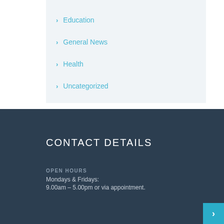Education
General News
Health
Uncategorized
CONTACT DETAILS
OPEN HOURS
Mondays & Fridays:
9.00am – 5.00pm or via appointment.